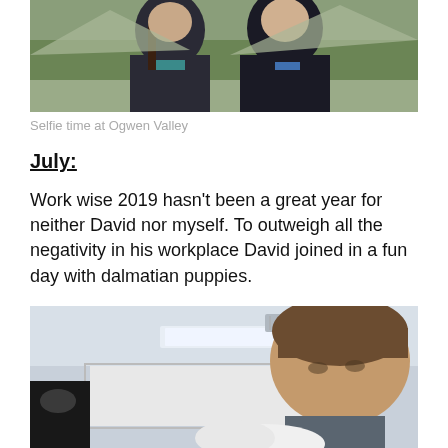[Figure (photo): Photo of people outdoors, partially cropped at top of page (Ogwen Valley selfie)]
Selfie time at Ogwen Valley
July:
Work wise 2019 hasn't been a great year for neither David nor myself. To outweigh all the negativity in his workplace David joined in a fun day with dalmatian puppies.
[Figure (photo): Photo of a man in an office or indoor setting, looking down, possibly at a dalmatian puppy (partially cropped at bottom)]